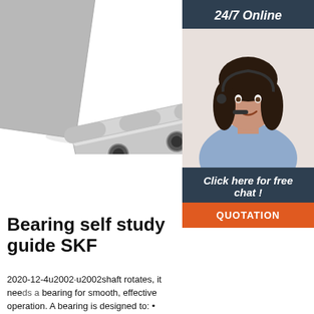[Figure (photo): A silver/chrome metal hinge photographed on a white background, showing the hinge open at approximately 90 degrees with three visible mounting holes on the flat plate.]
[Figure (photo): A woman with long dark hair wearing a telephone headset and blue shirt, smiling. Text '24/7 Online' appears above her on a dark teal/navy background panel. Below: 'Click here for free chat!' and an orange 'QUOTATION' button.]
Bearing self study guide SKF
2020-12-4u2002·u2002shaft rotates, it needs a bearing for smooth, effective operation. A bearing is designed to: • Reduce friction • Support a load • Guide moving parts – wheel, shafts, pivots Reduce friction Whether they are used in fleet, automotive or industrial applications, bearings perform the same function and have the same